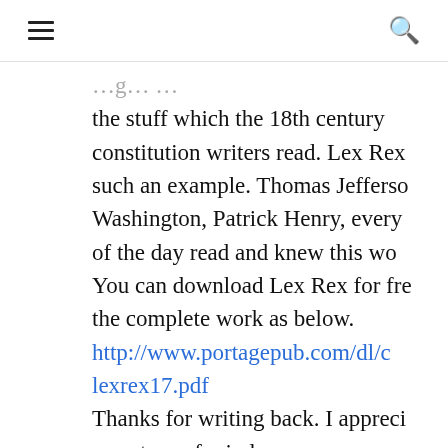☰  🔍
the stuff which the 18th century constitution writers read. Lex Rex such an example. Thomas Jefferson, Washington, Patrick Henry, every one of the day read and knew this wo... You can download Lex Rex for fre... the complete work as below. http://www.portagepub.com/dl/c... lexrex17.pdf Thanks for writing back. I appreci... your turn of mind.